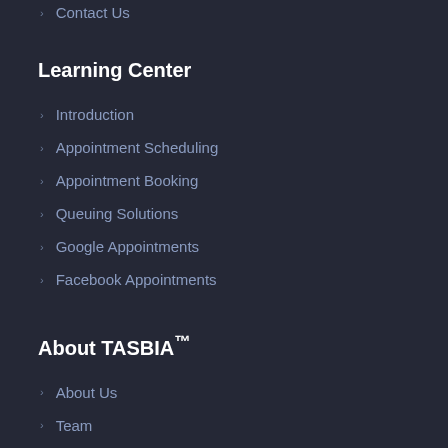Contact Us
Learning Center
Introduction
Appointment Scheduling
Appointment Booking
Queuing Solutions
Google Appointments
Facebook Appointments
About TASBIA™
About Us
Team
Blog
Member Area